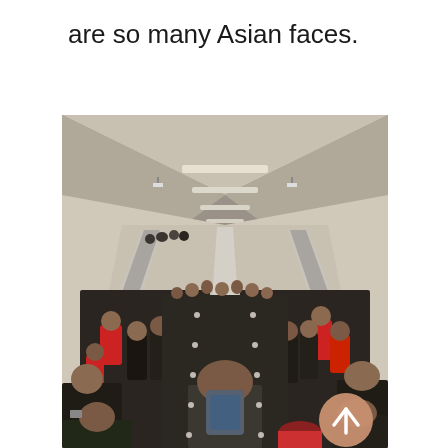are so many Asian faces.
[Figure (photo): A crowded escalator in what appears to be a subway or underground transit station. The photo is taken from above looking down, showing hundreds of people packed tightly on escalators moving downward. The ceiling is concrete with fluorescent light strips. People are wearing winter coats, many in dark colors with some in red/orange. A scroll-to-top button (peach/terracotta circle with upward arrow) is overlaid in the bottom right corner.]